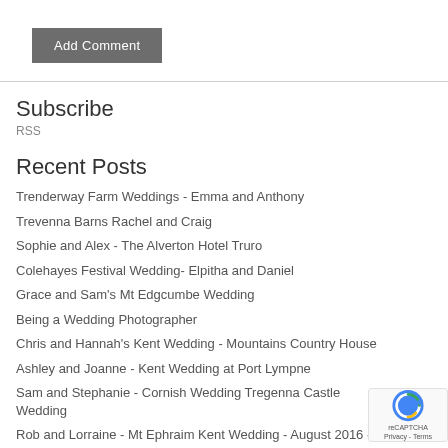Add Comment
Subscribe
RSS
Recent Posts
Trenderway Farm Weddings - Emma and Anthony
Trevenna Barns Rachel and Craig
Sophie and Alex - The Alverton Hotel Truro
Colehayes Festival Wedding- Elpitha and Daniel
Grace and Sam's Mt Edgcumbe Wedding
Being a Wedding Photographer
Chris and Hannah's Kent Wedding - Mountains Country House
Ashley and Joanne - Kent Wedding at Port Lympne
Sam and Stephanie - Cornish Wedding Tregenna Castle Wedding
Rob and Lorraine - Mt Ephraim Kent Wedding - August 2016 - Terms